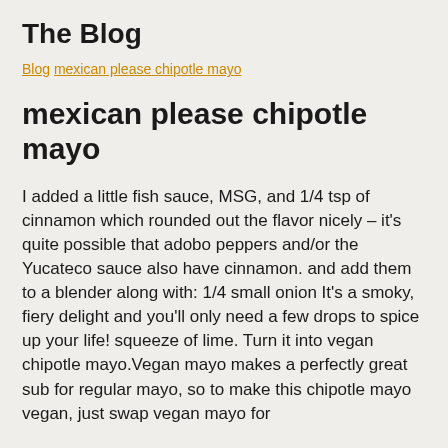The Blog
Blog mexican please chipotle mayo
mexican please chipotle mayo
I added a little fish sauce, MSG, and 1/4 tsp of cinnamon which rounded out the flavor nicely – it's quite possible that adobo peppers and/or the Yucateco sauce also have cinnamon. and add them to a blender along with: 1/4 small onion It's a smoky, fiery delight and you'll only need a few drops to spice up your life! squeeze of lime. Turn it into vegan chipotle mayo.Vegan mayo makes a perfectly great sub for regular mayo, so to make this chipotle mayo vegan, just swap vegan mayo for